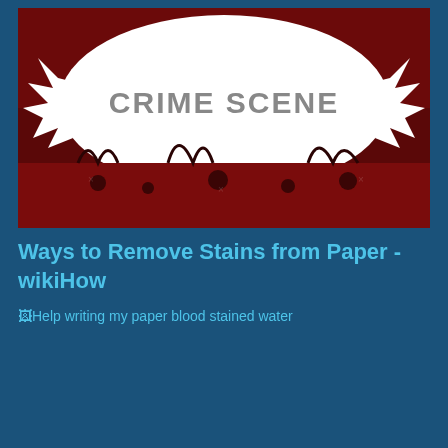[Figure (illustration): Crime scene graphic with dark red/maroon background and a large white splatter/splat shape in the center-upper area. The text 'CRIME SCENE' is displayed in gray letters within the white splatter region. The image has an artistic, grunge style with blood-splatter aesthetic.]
Ways to Remove Stains from Paper - wikiHow
[Figure (photo): Broken/missing image placeholder with alt text: 'Help writing my paper blood stained water']